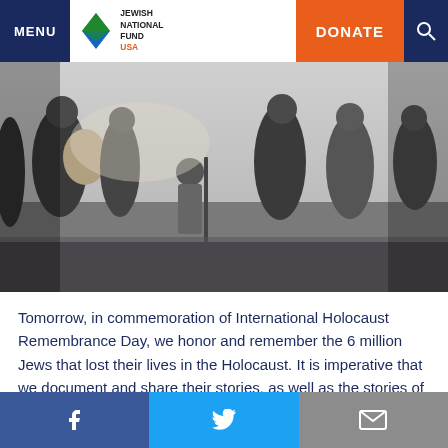MENU | Jewish National Fund USA | DONATE
[Figure (photo): Black and white historical photograph of a group of people, including a young child carrying a bag, walking together — likely Holocaust survivors or refugees.]
Tomorrow, in commemoration of International Holocaust Remembrance Day, we honor and remember the 6 million Jews that lost their lives in the Holocaust. It is imperative that we document and share their stories, as well as the stories of the survivors, not just today, but every day. SPIHS is proud to participate in this important initiative with its work at the Atlit Detention Camp Information Center. The Information Center works tirelessly to identify
Facebook | Twitter | Email